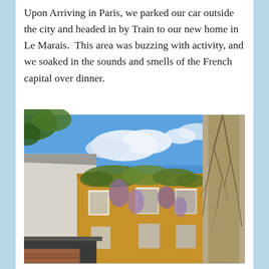Upon Arriving in Paris, we parked our car outside the city and headed in by Train to our new home in Le Marais.  This area was buzzing with activity, and we soaked in the sounds and smells of the French capital over dinner.
[Figure (photo): Photograph of a yellow Parisian building in Le Marais covered with wisteria and climbing plants, with a blue sky and white clouds above, and bare tree branches visible on the right side.]